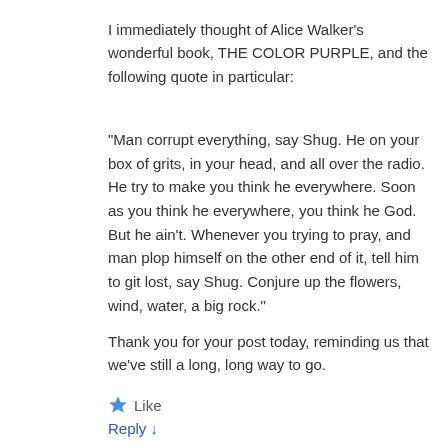I immediately thought of Alice Walker's wonderful book, THE COLOR PURPLE, and the following quote in particular:
“Man corrupt everything, say Shug. He on your box of grits, in your head, and all over the radio. He try to make you think he everywhere. Soon as you think he everywhere, you think he God. But he ain’t. Whenever you trying to pray, and man plop himself on the other end of it, tell him to git lost, say Shug. Conjure up the flowers, wind, water, a big rock.”
Thank you for your post today, reminding us that we’ve still a long, long way to go.
★ Like
Reply ↓
Carol P. Christ
February 1, 2016 • 6:50 am
Exactly!